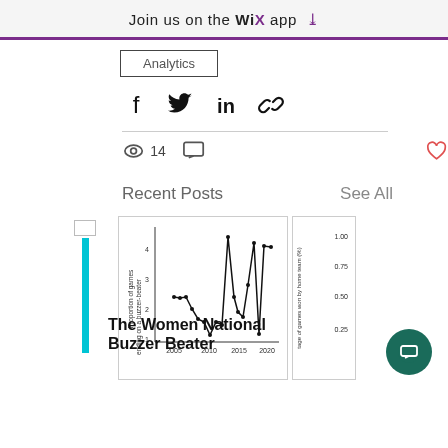Join us on the WiX app
Analytics
[Figure (infographic): Social share icons: Facebook, Twitter, LinkedIn, Link]
14 views, 0 comments, heart/like button
Recent Posts    See All
[Figure (screenshot): Thumbnail: teal bar decorative element]
[Figure (line-chart): Line chart showing Proportion of games ending on a buzzer-beater over years 2005–2020, y-axis 1–4]
[Figure (screenshot): Partial right thumbnail with y-axis labels 1.00, 0.75, 0.50, 0.25 and rotated label 'percentage of games won by home team']
The Women National Buzzer Beater